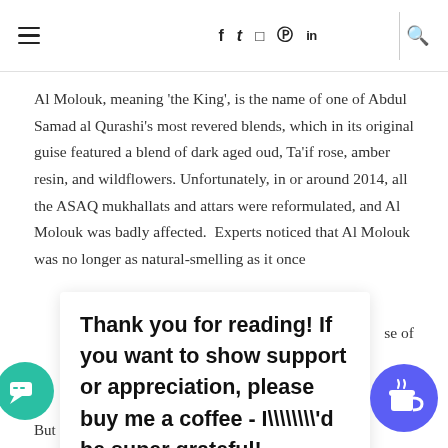≡  f  t  ☐  ⊕  in  🔍
Al Molouk, meaning 'the King', is the name of one of Abdul Samad al Qurashi's most revered blends, which in its original guise featured a blend of dark aged oud, Ta'if rose, amber resin, and wildflowers. Unfortunately, in or around 2014, all the ASAQ mukhallats and attars were reformulated, and Al Molouk was badly affected.  Experts noticed that Al Molouk was no longer as natural-smelling as it once
Thank you for reading! If you want to show support or appreciation, please buy me a coffee - I\'d be super grateful!
se of
But out of the misery of reformulation came a most